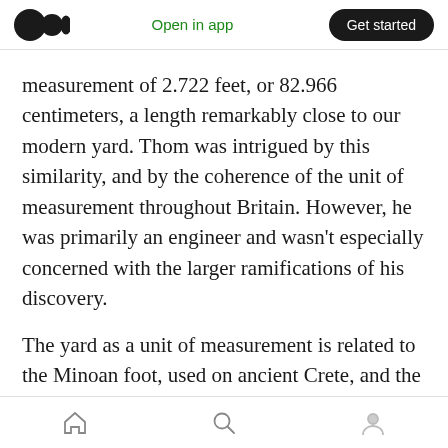Open in app | Get started
measurement of 2.722 feet, or 82.966 centimeters, a length remarkably close to our modern yard. Thom was intrigued by this similarity, and by the coherence of the unit of measurement throughout Britain. However, he was primarily an engineer and wasn't especially concerned with the larger ramifications of his discovery.
The yard as a unit of measurement is related to the Minoan foot, used on ancient Crete, and the cubit of the Middle East, as well as, more bewilderingly, the unit of measurement used in
Home | Search | Profile